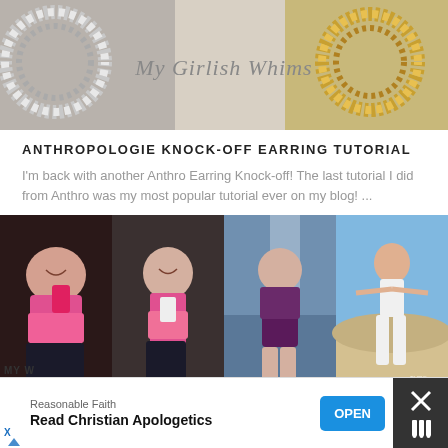[Figure (photo): Blog header banner with two decorative chain-link hoop earrings — one silver on the left, one gold on the right — on a light beige background. Center text reads 'My Girlish Whims' in italic script.]
ANTHROPOLOGIE KNOCK-OFF EARRING TUTORIAL
I'm back with another Anthro Earring Knock-off! The last tutorial I did from Anthro was my most popular tutorial ever on my blog! ...
[Figure (photo): A collage of four photos: (1) a woman in a pink sports bra taking a mirror selfie showing a larger body; (2) a slimmer woman in a pink sports bra taking a mirror selfie; (3) a woman in a dark purple swimsuit walking in water; (4) a slim woman in a white bikini on a beach posing with arms outstretched.]
[Figure (screenshot): Advertisement banner at the bottom of the page: source label 'Reasonable Faith', headline 'Read Christian Apologetics', blue 'OPEN' button on the right. X and play icon on the lower left. Dark close button area on the far right with an X icon and a small icon below it.]